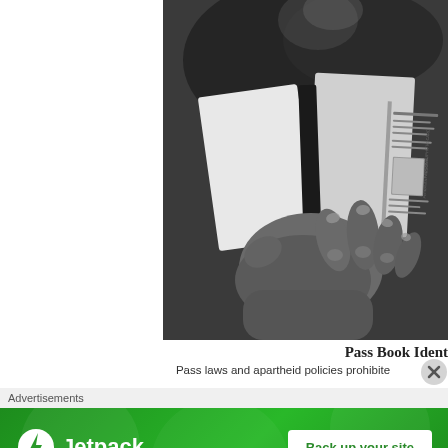[Figure (photo): Black and white photograph of a person holding open a pass book (identity document), showing the inside pages. The right side of the open booklet shows printed text and a small photograph. The image shows hands gripping the bottom of the document.]
Pass Book Ident
Pass laws and apartheid policies prohibite...
Advertisements
[Figure (other): Jetpack advertisement banner with green background. Left side shows Jetpack logo (lightning bolt icon) and 'Jetpack' text in white. Right side shows a white button with green text reading 'Back up your site'.]